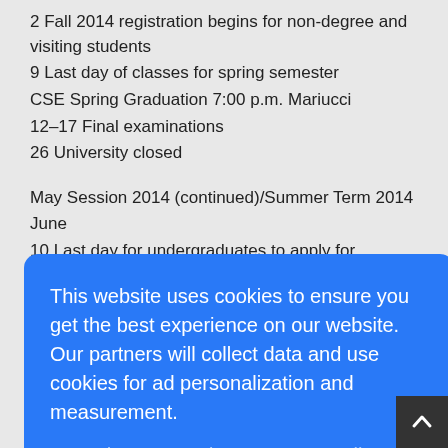2 Fall 2014 registration begins for non-degree and visiting students
9 Last day of classes for spring semester
CSE Spring Graduation 7:00 p.m. Mariucci
12–17 Final examinations
26 University closed
May Session 2014 (continued)/Summer Term 2014
June
10 Last day for undergraduates to apply for summer graduation
This website uses cookies to ensure you get the best experience on our website. Our partners will collect data and use cookies for ad personalization and measurement.
Learn how we and our partners collect and use data.
OK